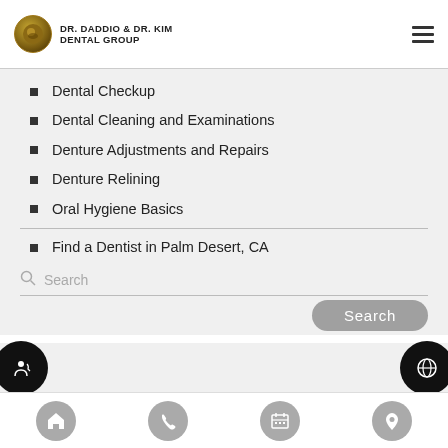Dr. Daddio & Dr. Kim Dental Group
Dental Checkup
Dental Cleaning and Examinations
Denture Adjustments and Repairs
Denture Relining
Oral Hygiene Basics
Find a Dentist in Palm Desert, CA
Search
Home | Phone | Calendar | Location